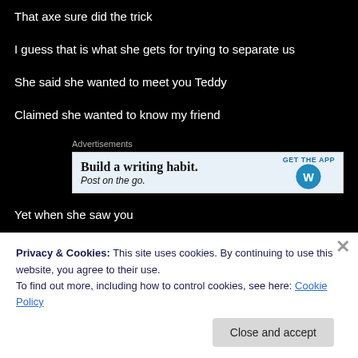That axe sure did the trick
I guess that is what she gets for trying to separate us
She said she wanted to meet you Teddy
Claimed she wanted to know my friend
[Figure (other): WordPress advertisement banner: 'Build a writing habit. Post on the go.' with GET THE APP button and WordPress logo]
Yet when she saw you
She cried instead
Privacy & Cookies: This site uses cookies. By continuing to use this website, you agree to their use. To find out more, including how to control cookies, see here: Cookie Policy
Close and accept